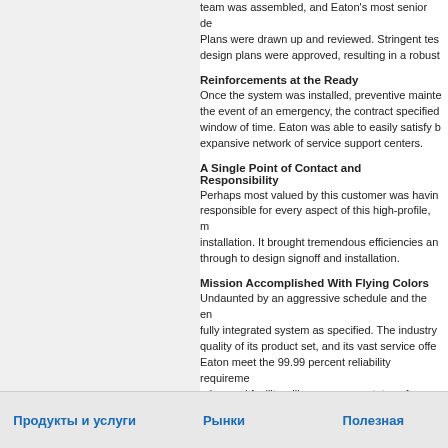team was assembled, and Eaton's most senior de... Plans were drawn up and reviewed. Stringent te... design plans were approved, resulting in a robust...
Reinforcements at the Ready
Once the system was installed, preventive mainte... the event of an emergency, the contract specified... window of time. Eaton was able to easily satisfy b... expansive network of service support centers.
A Single Point of Contact and Responsibility
Perhaps most valued by this customer was havin... responsible for every aspect of this high-profile, m... installation. It brought tremendous efficiencies an... through to design signoff and installation.
Mission Accomplished With Flying Colors
Undaunted by an aggressive schedule and the en... fully integrated system as specified. The industry... quality of its product set, and its vast service offe... Eaton meet the 99.99 percent reliability requireme... advanced facility will serve as a prototype for othe...
Critical Mission
Soldiers in the field rely on their communications... goes out, the system needs to function. Missions... communications network relies on power. And wh... vital link in the chain ready at all times.
Продукты и услуги   Рынки   Полезная